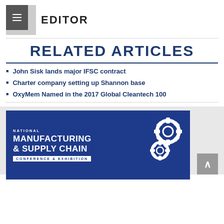EDITOR
RELATED ARTICLES
John Sisk lands major IFSC contract
Charter company setting up Shannon base
OxyMem Named in the 2017 Global Cleantech 100
[Figure (logo): National Manufacturing & Supply Chain Conference & Exhibition banner with gear icons]